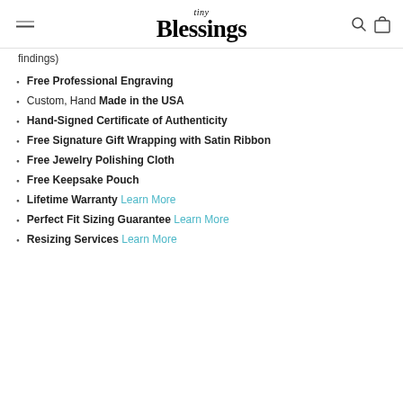tiny Blessings
findings)
Free Professional Engraving
Custom, Hand Made in the USA
Hand-Signed Certificate of Authenticity
Free Signature Gift Wrapping with Satin Ribbon
Free Jewelry Polishing Cloth
Free Keepsake Pouch
Lifetime Warranty Learn More
Perfect Fit Sizing Guarantee Learn More
Resizing Services Learn More